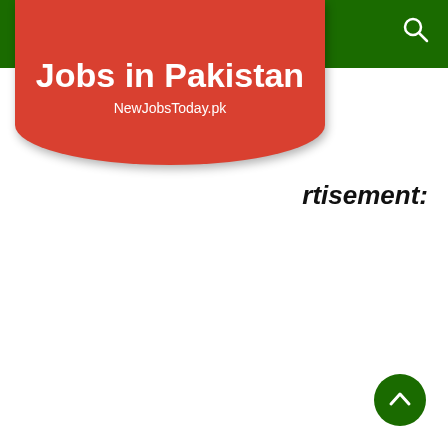Jobs in Pakistan – NewJobsToday.pk
rtisement:
[Figure (logo): Jobs in Pakistan website logo: red rounded badge with white bold text 'Jobs in Pakistan' and subtitle 'NewJobsToday.pk' on dark green navigation bar with search icon top right]